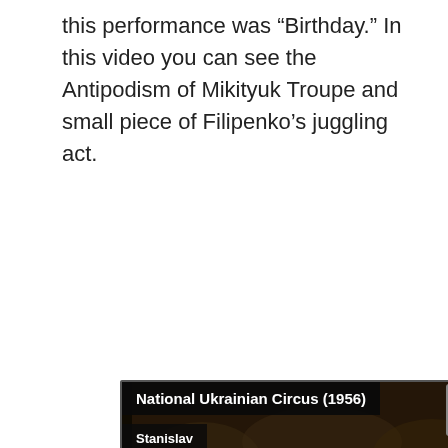this performance was “Birthday.” In this video you can see the Antipodism of Mikityuk Troupe and small piece of Filipenko’s juggling act.
[Figure (screenshot): Embedded video player showing National Ukrainian Circus (1956) with a player error message. The video thumbnail shows a black-and-white crowd scene. Overlaid text: 'National Ukrainian Circus (1956)', 'Stanislav', 'Player error', 'The player is having trouble. We’ll have it back up and running as soon as possible.' Year '1956' watermark visible at bottom.]